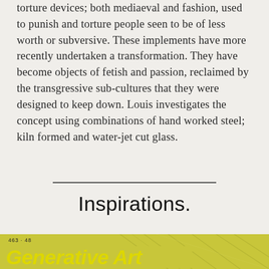torture devices; both mediaeval and fashion, used to punish and torture people seen to be of less worth or subversive. These implements have more recently undertaken a transformation. They have become objects of fetish and passion, reclaimed by the transgressive sub-cultures that they were designed to keep down. Louis investigates the concept using combinations of hand worked steel; kiln formed and water-jet cut glass.
Inspirations.
[Figure (illustration): Yellow-green book cover thumbnail showing 'Generative Art' title in bold italic yellow text on a yellow-green background with diagonal line patterns, labeled '463 · 48' in small text at top left.]